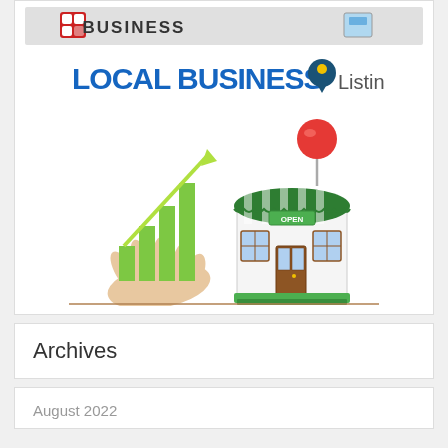[Figure (illustration): Local Business Listings illustration: top banner with puzzle piece logo and 'BUSINESS' text, below is 'LOCAL BUSINESS Listings' logo with map pin icon, and below that a hand holding green bar chart next to a cartoon storefront with green-white striped awning and a red map pin balloon.]
Archives
August 2022